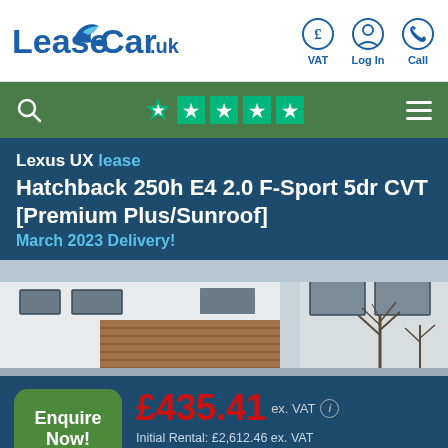[Figure (logo): LeaseCar.uk logo with car/bird graphic, blue text]
[Figure (infographic): Navigation header icons: VAT (pound sign in circle), Log In (person icon), Call (phone icon)]
[Figure (infographic): Green search bar with magnifying glass, Trustpilot 5 green stars, hamburger menu icon]
Lexus UX lease
Hatchback 250h E4 2.0 F-Sport 5dr CVT [Premium Plus/Sunroof]
March 2023 Delivery!
[Figure (photo): Photograph of a modern building with wooden cladding and bare trees, used as car listing image]
Enquire Now!
£435.41 ex. VAT
Initial Rental: £2,612.46 ex. VAT
4 year lease 10,000 annual mileage